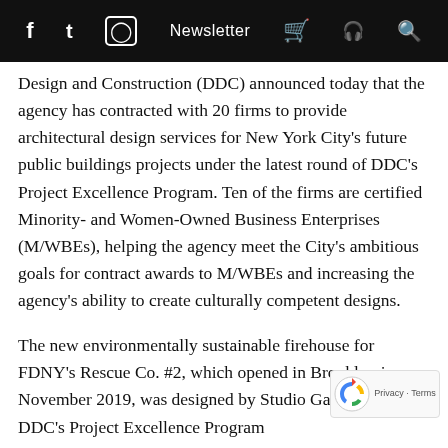f  Twitter  Instagram  Newsletter  Cart  Podcast  Search
Design and Construction (DDC) announced today that the agency has contracted with 20 firms to provide architectural design services for New York City's future public buildings projects under the latest round of DDC's Project Excellence Program. Ten of the firms are certified Minority- and Women-Owned Business Enterprises (M/WBEs), helping the agency meet the City's ambitious goals for contract awards to M/WBEs and increasing the agency's ability to create culturally competent designs.
The new environmentally sustainable firehouse for FDNY's Rescue Co. #2, which opened in Brooklyn in November 2019, was designed by Studio Gang under DDC's Project Excellence Program
“The firms selected for Project Excellence went through a rigorous review process to ensure they can deliver